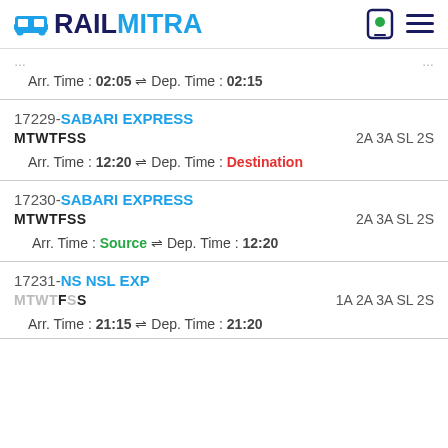RAILMITRA
Arr. Time : 02:05 ⇌ Dep. Time : 02:15
17229-SABARI EXPRESS
MTWTFSS	2A 3A SL 2S
Arr. Time : 12:20 ⇌ Dep. Time : Destination
17230-SABARI EXPRESS
MTWTFSS	2A 3A SL 2S
Arr. Time : Source ⇌ Dep. Time : 12:20
17231-NS NSL EXP
MTWTFSS	1A 2A 3A SL 2S
Arr. Time : 21:15 ⇌ Dep. Time : 21:20